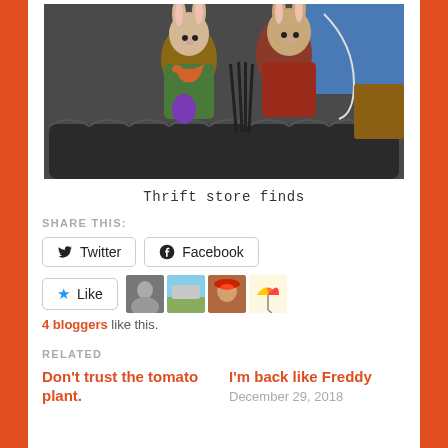[Figure (photo): Two rabbit figurines dressed in colorful clothing sitting in a dark woven basket, with various items around them including a purple egg and knitting needles]
Thrift store finds
SHARE THIS:
Twitter  Facebook
Like  [4 blogger avatars]
4 bloggers like this.
RELATED
Don't trust the tomato plant.
I'm back like Freddy
December 29, 2018